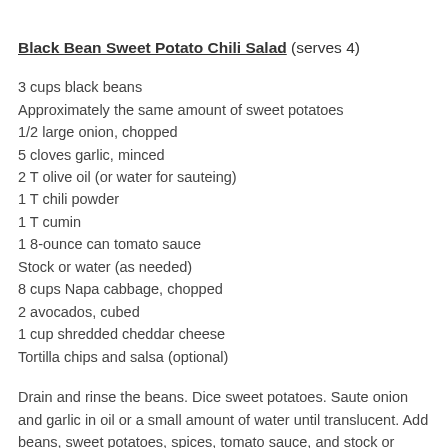Black Bean Sweet Potato Chili Salad (serves 4)
3 cups black beans
Approximately the same amount of sweet potatoes
1/2 large onion, chopped
5 cloves garlic, minced
2 T olive oil (or water for sauteing)
1 T chili powder
1 T cumin
1 8-ounce can tomato sauce
Stock or water (as needed)
8 cups Napa cabbage, chopped
2 avocados, cubed
1 cup shredded cheddar cheese
Tortilla chips and salsa (optional)
Drain and rinse the beans. Dice sweet potatoes. Saute onion and garlic in oil or a small amount of water until translucent. Add beans, sweet potatoes, spices, tomato sauce, and stock or water to cover ingredients. Bring to a boil, then simmer